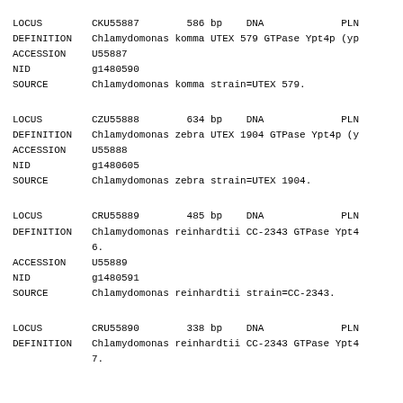LOCUS       CKU55887        586 bp    DNA             PLN
DEFINITION  Chlamydomonas komma UTEX 579 GTPase Ypt4p (yp
ACCESSION   U55887
NID         g1480590
SOURCE      Chlamydomonas komma strain=UTEX 579.
LOCUS       CZU55888        634 bp    DNA             PLN
DEFINITION  Chlamydomonas zebra UTEX 1904 GTPase Ypt4p (y
ACCESSION   U55888
NID         g1480605
SOURCE      Chlamydomonas zebra strain=UTEX 1904.
LOCUS       CRU55889        485 bp    DNA             PLN
DEFINITION  Chlamydomonas reinhardtii CC-2343 GTPase Ypt4
            6.
ACCESSION   U55889
NID         g1480591
SOURCE      Chlamydomonas reinhardtii strain=CC-2343.
LOCUS       CRU55890        338 bp    DNA             PLN
DEFINITION  Chlamydomonas reinhardtii CC-2343 GTPase Ypt4
            7.